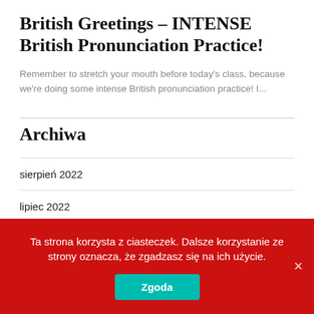British Greetings – INTENSE British Pronunciation Practice!
Remember to stretch your mouth before today's class, because we're doing some intense British pronunciation practice! I...
Archiwa
sierpień 2022
lipiec 2022
czerwiec 2022
Ta strona korzysta z ciasteczek. Dalsze korzystanie ze strony oznacza, że zgadzasz się na ich użycie.
Zgoda